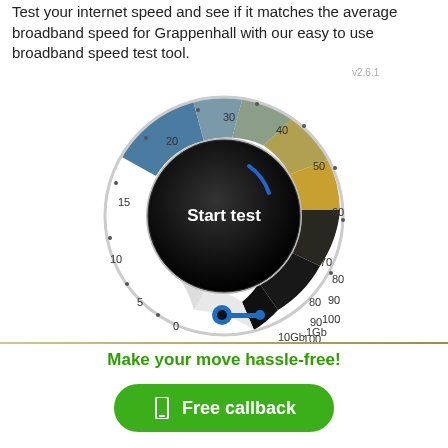Test your internet speed and see if it matches the average broadband speed for Grappenhall with our easy to use broadband speed test tool.
[Figure (other): A broadband speed test meter/gauge widget showing a circular speedometer with color bands from blue (low speeds 0-15) through grey-green (15-30) to gold/yellow (30-60) to black (60-1Gb). The center shows 'Start test' text. A blue wrench/settings icon appears at the bottom. Scale labels: 0, 5, 10, 15, 20, 30, 40, 50, 60, 70, 80, 90, 100, 1Gb, 10Gb. Version label v2.6.1 in top right.]
Make your move hassle-free!
Free callback